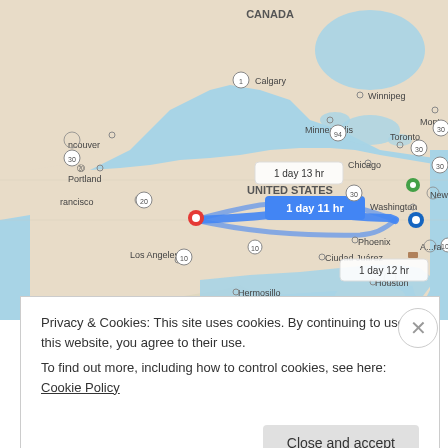[Figure (map): Google Maps screenshot showing a route across the United States from Los Angeles (red pin) to Washington area (blue pin) and another location (green pin). Three route options are shown with travel times: '1 day 11 hr' (highlighted in blue), '1 day 13 hr', and '1 day 12 hr'. Cities labeled include Vancouver, Portland, San Francisco, Los Angeles, Calgary, Winnipeg, Minneapolis, Chicago, Toronto, Montreal, New York, Phoenix, Ciudad Juarez, Houston, Hermosillo, Monterrey, Mexico City, Havana, Cuba, and Dominica. Countries labeled: Canada, United States, Mexico.]
Privacy & Cookies: This site uses cookies. By continuing to use this website, you agree to their use.
To find out more, including how to control cookies, see here: Cookie Policy
Close and accept